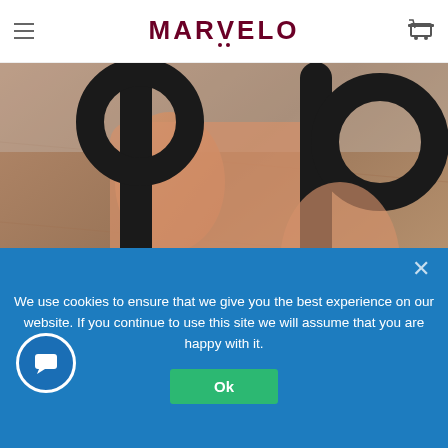MARVELO
[Figure (photo): Close-up photo of hands holding audio cable connectors (3.5mm jack and USB) against a textured brown surface. Two black cables with metal connectors are visible being held by fingers.]
USD
We use cookies to ensure that we give you the best experience on our website. If you continue to use this site we will assume that you are happy with it.
Ok